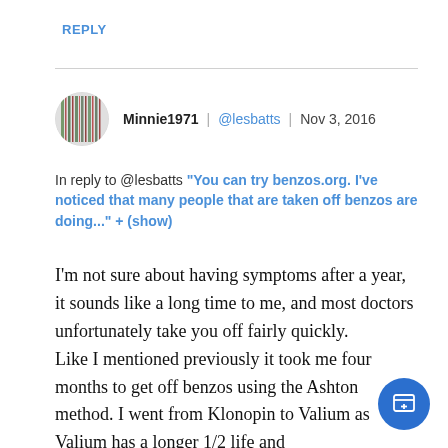REPLY
Minnie1971 | @lesbatts | Nov 3, 2016
In reply to @lesbatts "You can try benzos.org. I've noticed that many people that are taken off benzos are doing..." + (show)
I'm not sure about having symptoms after a year, it sounds like a long time to me, and most doctors unfortunately take you off fairly quickly.
Like I mentioned previously it took me four months to get off benzos using the Ashton method. I went from Klonopin to Valium as Valium has a longer 1/2 life and